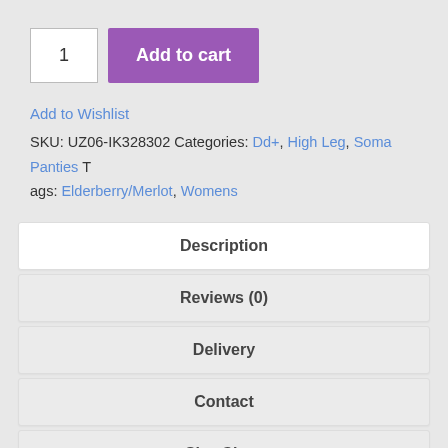1  Add to cart
Add to Wishlist
SKU: UZ06-IK328302 Categories: Dd+, High Leg, Soma Panties Tags: Elderberry/Merlot, Womens
Description
Reviews (0)
Delivery
Contact
Size Chart